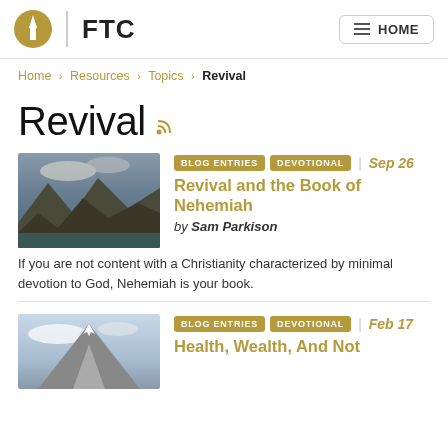FTC | HOME
Home › Resources › Topics › Revival
Revival
BLOG ENTRIES  DEVOTIONAL  Sep 26
Revival and the Book of Nehemiah
by Sam Parkison
If you are not content with a Christianity characterized by minimal devotion to God, Nehemiah is your book.
BLOG ENTRIES  DEVOTIONAL  Feb 17
Health, Wealth, And Not